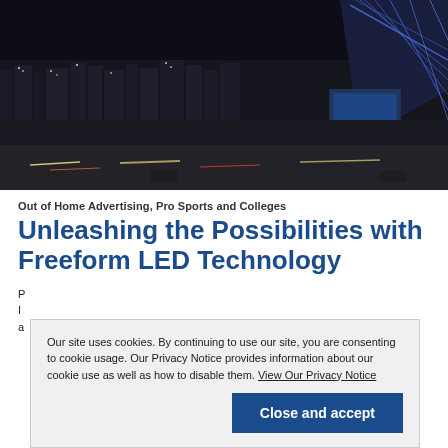[Figure (photo): Nighttime aerial view of a large urban transportation hub or stadium complex with illuminated structures, highways with moving car lights, and a glowing LED billboard or building facade on the right side.]
Out of Home Advertising, Pro Sports and Colleges
Unleashing the Possibilities with Freeform LED Technology
P... I... a...
Our site uses cookies. By continuing to use our site, you are consenting to cookie usage. Our Privacy Notice provides information about our cookie use as well as how to disable them. View Our Privacy Notice
Close and accept